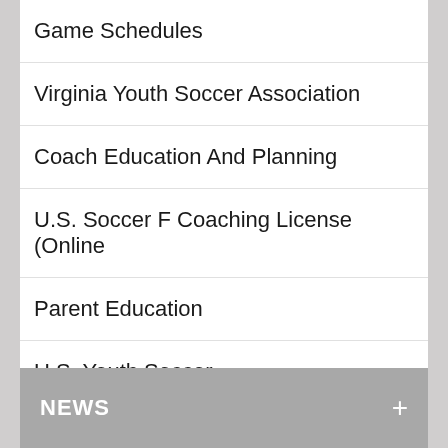Game Schedules
Virginia Youth Soccer Association
Coach Education And Planning
U.S. Soccer F Coaching License (Online
Parent Education
U.S. Youth Soccer
NEWS